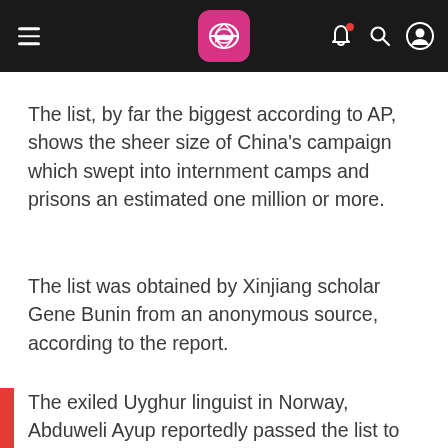News app header with logo, hamburger menu, notification bell, search, and profile icons
The list, by far the biggest according to AP, shows the sheer size of China's campaign which swept into internment camps and prisons an estimated one million or more.
The list was obtained by Xinjiang scholar Gene Bunin from an anonymous source, according to the report.
The exiled Uyghur linguist in Norway, Abduweli Ayup reportedly passed the list to AP.